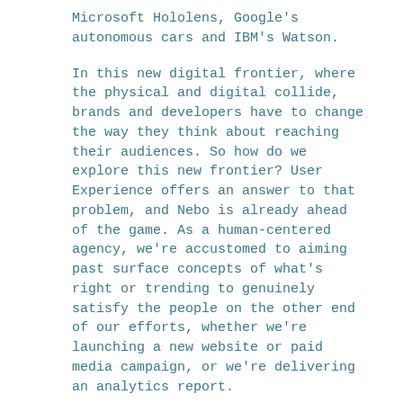Microsoft Hololens, Google's autonomous cars and IBM's Watson.
In this new digital frontier, where the physical and digital collide, brands and developers have to change the way they think about reaching their audiences. So how do we explore this new frontier? User Experience offers an answer to that problem, and Nebo is already ahead of the game. As a human-centered agency, we're accustomed to aiming past surface concepts of what's right or trending to genuinely satisfy the people on the other end of our efforts, whether we're launching a new website or paid media campaign, or we're delivering an analytics report.
To explore this pending reality–and really reap the rewards of our efforts–we'll have to double down and thoroughly apply the tried and true methods of Research, Design and Iteration to get us where we want to go with new technology and all the possibilities and opportunities it promises. Simply put,